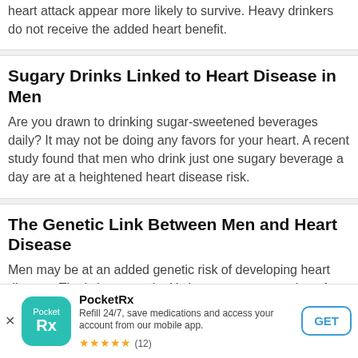heart attack appear more likely to survive. Heavy drinkers do not receive the added heart benefit.
Sugary Drinks Linked to Heart Disease in Men
Are you drawn to drinking sugar-sweetened beverages daily? It may not be doing any favors for your heart. A recent study found that men who drink just one sugary beverage a day are at a heightened heart disease risk.
The Genetic Link Between Men and Heart Disease
Men may be at an added genetic risk of developing heart disease. That's because the Y chromosome, a portion of DNA that only men have, appears to play a role in inheriting coronary artery disease.
[Figure (screenshot): PocketRx app advertisement banner with logo, description 'Refill 24/7, save medications and access your account from our mobile app.', 5-star rating with (12) reviews, and GET button]